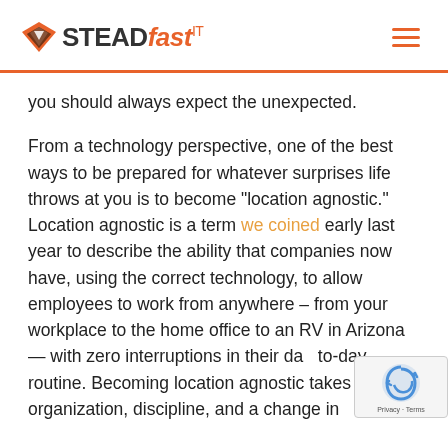[Figure (logo): STEADfast IT logo with orange shield/triangle icon on the left, bold dark text STEAD followed by italic orange text fast and superscript IT]
you should always expect the unexpected.
From a technology perspective, one of the best ways to be prepared for whatever surprises life throws at you is to become “location agnostic.” Location agnostic is a term we coined early last year to describe the ability that companies now have, using the correct technology, to allow employees to work from anywhere – from your workplace to the home office to an RV in Arizona — with zero interruptions in their day-to-day routine. Becoming location agnostic takes organization, discipline, and a change in